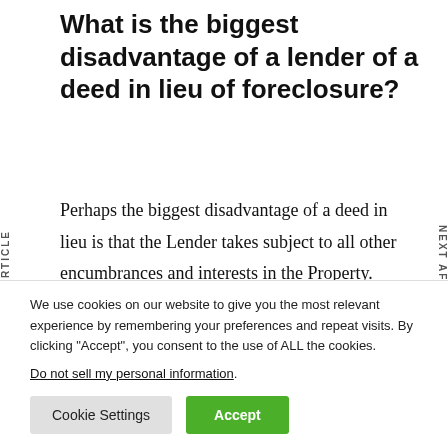What is the biggest disadvantage of a lender of a deed in lieu of foreclosure?
Perhaps the biggest disadvantage of a deed in lieu is that the Lender takes subject to all other encumbrances and interests in the Property. Therefore if there is a second mortgage, for example,
We use cookies on our website to give you the most relevant experience by remembering your preferences and repeat visits. By clicking “Accept”, you consent to the use of ALL the cookies.
Do not sell my personal information.